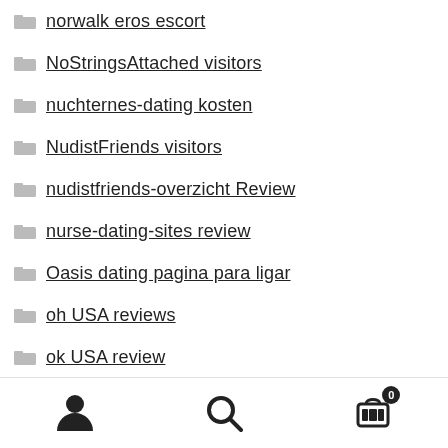norwalk eros escort
NoStringsAttached visitors
nuchternes-dating kosten
NudistFriends visitors
nudistfriends-overzicht Review
nurse-dating-sites review
Oasis dating pagina para ligar
oh USA reviews
ok USA review
okcupid review
okcupid sito di incontri